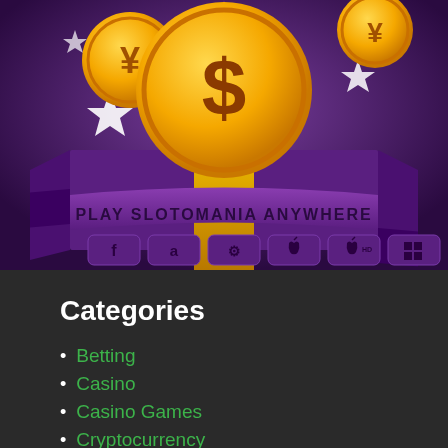[Figure (illustration): Slotomania promotional banner with purple background, gold dollar coin in center, smaller coins on sides, white stars, and platform icons (Facebook, Amazon, Android, Apple, Apple HD, Windows) at bottom with text 'PLAY SLOTOMANIA ANYWHERE']
Categories
Betting
Casino
Casino Games
Cryptocurrency
Ethereum